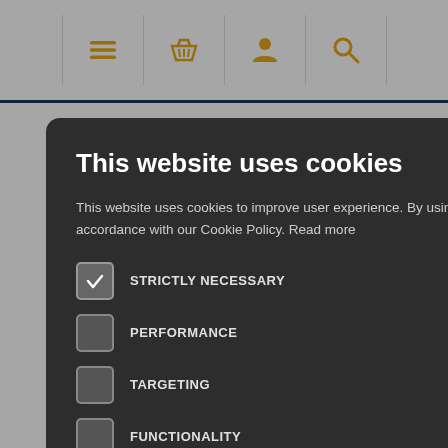[Figure (screenshot): Website navigation bar with hamburger menu, basket, user, and search icons in orange on white background with dark blue bottom border]
[Figure (screenshot): Partially visible background web page text with lines partially obscured by cookie consent modal overlay]
This website uses cookies
This website uses cookies to improve user experience. By using our website you consent to all cookies in accordance with our Cookie Policy. Read more
STRICTLY NECESSARY
PERFORMANCE
TARGETING
FUNCTIONALITY
ACCEPT ALL
DECLINE ALL
SHOW DETAILS
POWERED BY COOKIESCRIPT